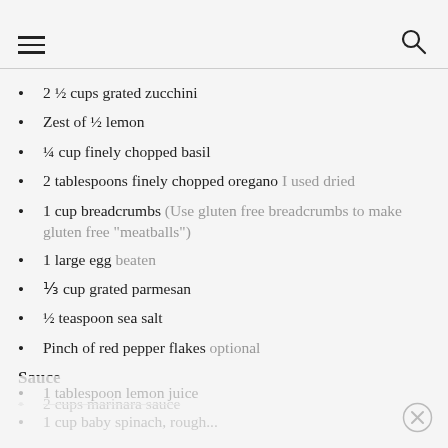[hamburger menu icon] [search icon]
2 ½ cups grated zucchini
Zest of ½ lemon
¼ cup finely chopped basil
2 tablespoons finely chopped oregano I used dried
1 cup breadcrumbs (Use gluten free breadcrumbs to make gluten free "meatballs")
1 large egg beaten
⅓ cup grated parmesan
½ teaspoon sea salt
Pinch of red pepper flakes optional
Sauce
2 cups marinara sauce
1 tablespoon lemon juice
1 cup baby spinach, roughly...